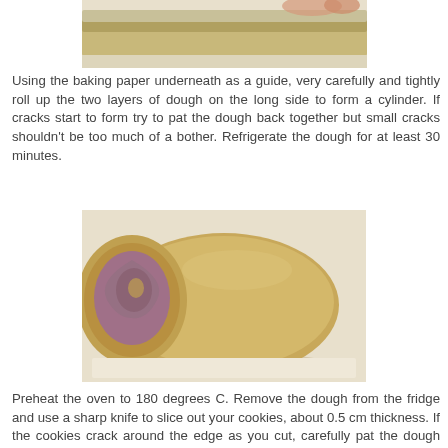[Figure (photo): Top portion of a rolled cookie dough log being rolled, showing layered dough with greenish/tan coloring on baking paper.]
Using the baking paper underneath as a guide, very carefully and tightly roll up the two layers of dough on the long side to form a cylinder. If cracks start to form try to pat the dough back together but small cracks shouldn't be too much of a bother. Refrigerate the dough for at least 30 minutes.
[Figure (photo): A rolled cylinder of cookie dough on baking paper, cut at one end to show a spiral cross-section of tan/beige dough with a pink/purple inner swirl.]
Preheat the oven to 180 degrees C. Remove the dough from the fridge and use a sharp knife to slice out your cookies, about 0.5 cm thickness. If the cookies crack around the edge as you cut, carefully pat the dough back together.